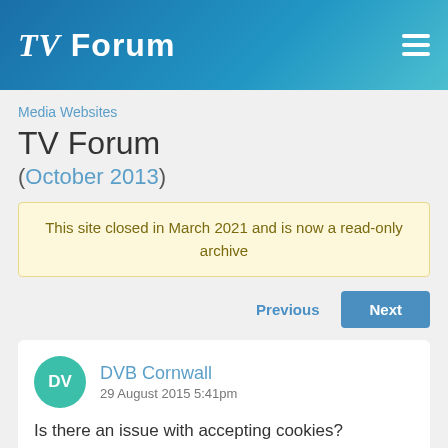TV Forum
Media Websites
TV Forum
(October 2013)
This site closed in March 2021 and is now a read-only archive
Previous  Next
DVB Cornwall
29 August 2015 5:41pm

Is there an issue with accepting cookies?